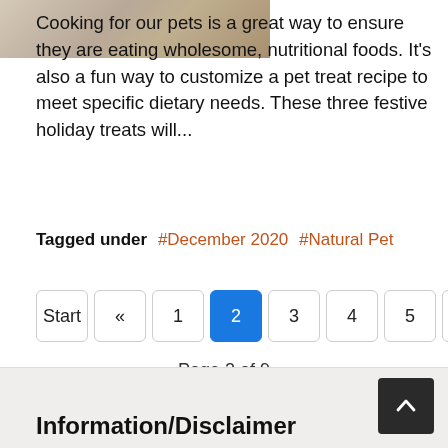[Figure (photo): Photo of a pet (dog/cat) cropped at top, partial view]
Cooking for our pets is a great way to ensure they are eating wholesome, nutritional foods. It's also a fun way to customize a pet treat recipe to meet specific dietary needs. These three festive holiday treats will...
Tagged under  #December 2020  #Natural Pet
Start « 1 2 3 4 5 6 7 8
Page 2 of 9
Information/Disclaimer